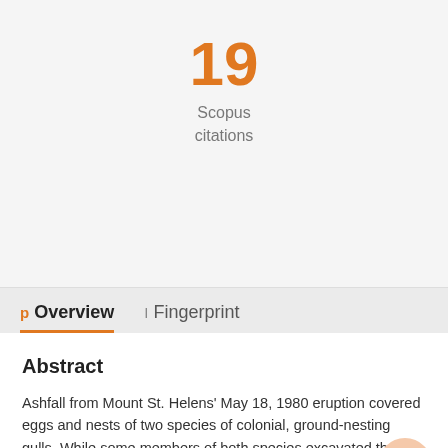19
Scopus citations
p Overview   I Fingerprint
Abstract
Ashfall from Mount St. Helens' May 18, 1980 eruption covered eggs and nests of two species of colonial, ground-nesting gulls. While some members of both species excavated their eggs from beneath the ash, most eggs and